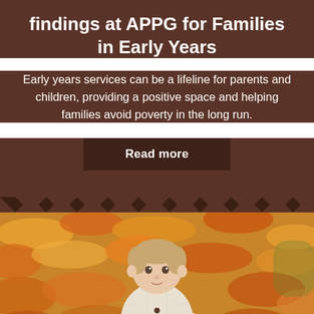findings at APPG for Families in Early Years
Early years services can be a lifeline for parents and children, providing a positive space and helping families avoid poverty in the long run.
Read more
[Figure (photo): Baby/toddler in a cream knit cardigan sitting among autumn leaves (orange, yellow, red). The child is looking toward the camera with a soft expression. Background is blurred autumn leaves.]